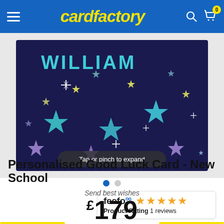cardfactory
[Figure (photo): Dark navy blue greeting card with the name WILLIAM in teal letters surrounded by colorful stars in various sizes and colors. Card has 'Tap or pinch to expand' overlay at the bottom.]
[Figure (other): Feefo product rating widget showing 4 stars out of 5 and 1 review]
Personalised Good Luck Card - New School
Send best wishes
£179